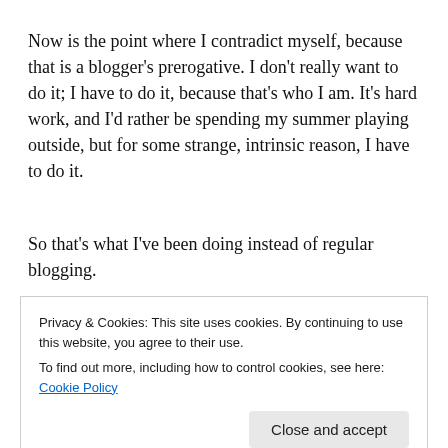Now is the point where I contradict myself, because that is a blogger's prerogative. I don't really want to do it; I have to do it, because that's who I am. It's hard work, and I'd rather be spending my summer playing outside, but for some strange, intrinsic reason, I have to do it.
So that's what I've been doing instead of regular blogging.
Sometimes bloggers apologize for having posting sporadically. I won't do that, because I think it implies your life is somehow incomplete without regular doses of me in
Privacy & Cookies: This site uses cookies. By continuing to use this website, you agree to their use.
To find out more, including how to control cookies, see here: Cookie Policy
Close and accept
story, or a true fear anyhow, and it's merely one quick click